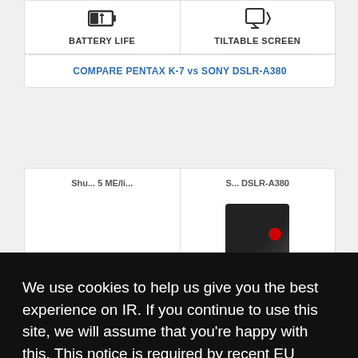BATTERY LIFE
TILTABLE SCREEN
COMPARE PENTAX K-7 vs SONY DSLR-A380
We use cookies to help us give you the best experience on IR. If you continue to use this site, we will assume that you're happy with this. This notice is required by recent EU rules, and IR is read globally, so we need to keep the bureaucrats off our case!
Learn more
Got it!